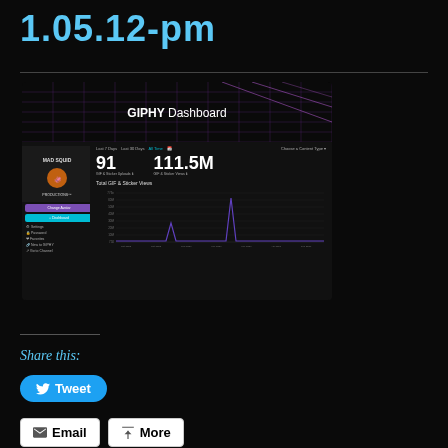1.05.12-pm
[Figure (screenshot): GIPHY Dashboard screenshot showing Mad Squid Productions account with 91 GIF & Sticker Uploads and 111.5M GIF & Sticker Views, with a line chart of Total GIF & Sticker Views over time showing two spikes]
Share this:
Tweet
Post
Save
Email
More